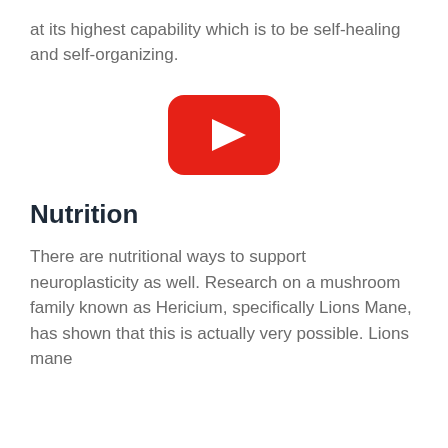at its highest capability which is to be self-healing and self-organizing.
[Figure (screenshot): YouTube video player button — red rounded rectangle with white play triangle in center]
Nutrition
There are nutritional ways to support neuroplasticity as well. Research on a mushroom family known as Hericium, specifically Lions Mane, has shown that this is actually very possible. Lions mane